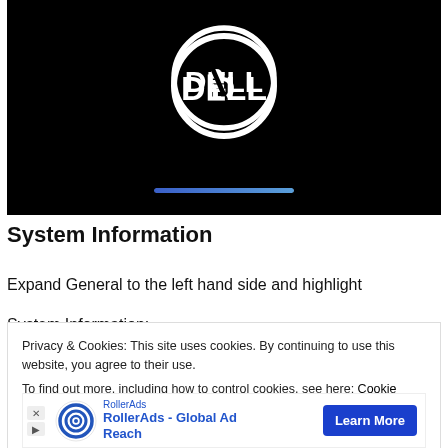[Figure (screenshot): Dell boot screen screenshot showing the Dell logo (white circle with DELL text) on a black background, with a blue progress bar at the bottom of the screen.]
System Information
Expand General to the left hand side and highlight
System Information:
Privacy & Cookies: This site uses cookies. By continuing to use this website, you agree to their use.
To find out more, including how to control cookies, see here: Cookie Policy
[Figure (infographic): RollerAds advertisement banner: RollerAds logo (concentric circles), text 'RollerAds - Global Ad Reach', and a blue 'Learn More' button. Small X and forward icons visible at bottom left.]